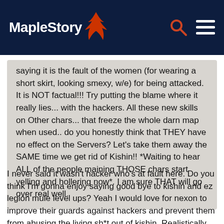MapleStory
saying it is the fault of the women (for wearing a short skirt, looking smexy, w/e) for being attacked. It is NOT factual!!! Try putting the blame where it really lies... with the hackers. All these new skills on Other chars... that freeze the whole darn map when used.. do you honestly think that THEY have no effect on the Servers? Let's take them away the SAME time we get rid of Kishin!! *Waiting to hear ALL of the people maining THOSE chars start yelling and hollering now*. I am sure THAT will go over real well.
I never said it wasn't hacker who's at fault here. Do you think I'm gonna enjoy saying good bye to kishin and ez legion mule level ups? Yeah I would love for nexon to improve their guards against hackers and prevent them from abusing the living sh*t out of kishin. Realistically, however, that's like asking pig to fly. It simply won't happen. Even in KMS, where they must provide social number to make an account, they have problems with macro